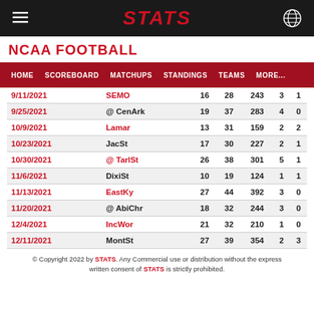STATS
NCAA FOOTBALL
HOME  SCOREBOARD  MATCHUPS  STANDINGS  TEAMS  MORE...
| Date | Opponent | Pts | Opp | Yds | TD | INT |
| --- | --- | --- | --- | --- | --- | --- |
| 9/11/2021 | SEMO | 16 | 28 | 243 | 3 | 1 |
| 9/25/2021 | @ CenArk | 19 | 37 | 283 | 4 | 0 |
| 10/9/2021 | Lamar | 13 | 31 | 159 | 2 | 2 |
| 10/23/2021 | JacSt | 17 | 30 | 227 | 2 | 1 |
| 10/30/2021 | @ TarlSt | 26 | 38 | 301 | 5 | 1 |
| 11/6/2021 | DixiSt | 10 | 19 | 124 | 1 | 1 |
| 11/13/2021 | EastKy | 27 | 44 | 392 | 3 | 0 |
| 11/20/2021 | @ AbiChr | 18 | 32 | 244 | 3 | 0 |
| 12/4/2021 | IncWor | 21 | 32 | 210 | 1 | 0 |
| 12/11/2021 | MontSt | 27 | 39 | 354 | 2 | 3 |
© Copyright 2022 by STATS. Any Commercial use or distribution without the express written consent of STATS is strictly prohibited.